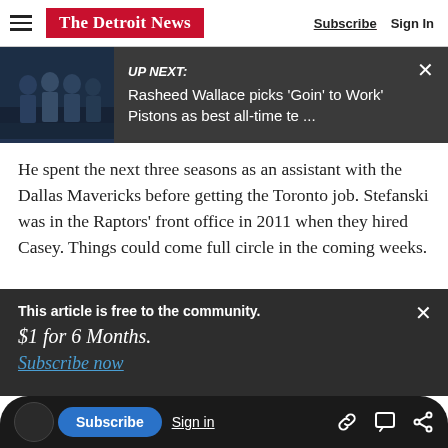The Detroit News — Subscribe  Sign In
[Figure (screenshot): UP NEXT banner with photo of group of people in suits on basketball court. Text: UP NEXT: Rasheed Wallace picks 'Goin' to Work' Pistons as best all-time te ...]
He spent the next three seasons as an assistant with the Dallas Mavericks before getting the Toronto job. Stefanski was in the Raptors' front office in 2011 when they hired Casey. Things could come full circle in the coming weeks.
This article is free to the community.
$1 for 6 Months.
Subscribe now
Subscribe  Sign in